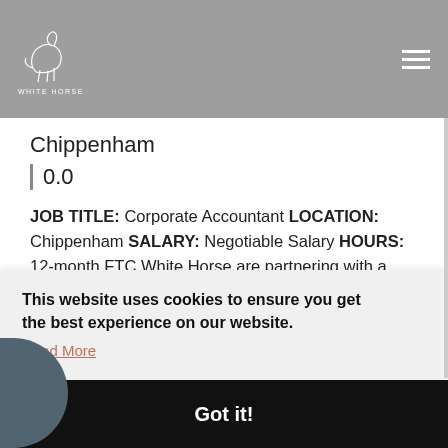WHITE HORSE
Chippenham
0.0
JOB TITLE: Corporate Accountant LOCATION: Chippenham SALARY: Negotiable Salary HOURS: 12-month FTC White Horse are partnering with a leading
This website uses cookies to ensure you get the best experience on our website.
Read More
Got it!